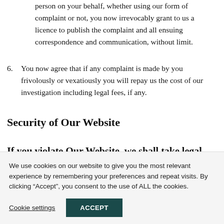person on your behalf, whether using our form of complaint or not, you now irrevocably grant to us a licence to publish the complaint and all ensuing correspondence and communication, without limit.
6. You now agree that if any complaint is made by you frivolously or vexatiously you will repay us the cost of our investigation including legal fees, if any.
Security of Our Website
If you violate Our Website, we shall take legal action
We use cookies on our website to give you the most relevant experience by remembering your preferences and repeat visits. By clicking “Accept”, you consent to the use of ALL the cookies.